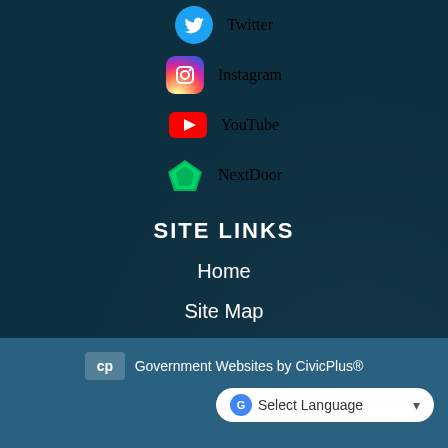Twitter
Instagram
YouTube
NextDoor
SITE LINKS
Home
Site Map
Contact Us
Accessibility
Copyright Notices
Government Websites by CivicPlus®
Select Language